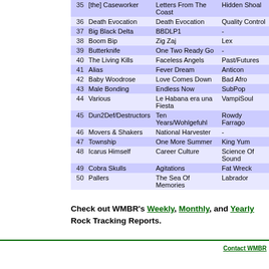| # | Artist | Album | Label |
| --- | --- | --- | --- |
| 35 | [the] Caseworker | Letters From The Coast | Hidden Shoal |
| 36 | Death Evocation | Death Evocation | Quality Control |
| 37 | Big Black Delta | BBDLP1 | - |
| 38 | Boom Bip | Zig Zaj | Lex |
| 39 | Butterknife | One Two Ready Go | - |
| 40 | The Living Kills | Faceless Angels | Past/Futures |
| 41 | Alias | Fever Dream | Anticon |
| 42 | Baby Woodrose | Love Comes Down | Bad Afro |
| 43 | Male Bonding | Endless Now | SubPop |
| 44 | Various | Le Habana era una Fiesta | VampiSoul |
| 45 | Dun2Def/Destructors | Ten Years/Wohlgefuhl | Rowdy Farrago |
| 46 | Movers & Shakers | National Harvester | - |
| 47 | Township | One More Summer | King Yum |
| 48 | Icarus Himself | Career Culture | Science Of Sound |
| 49 | Cobra Skulls | Agitations | Fat Wreck |
| 50 | Pallers | The Sea Of Memories | Labrador |
Check out WMBR's Weekly, Monthly, and Yearly Rock Tracking Reports.
WMBR is a registered servicemark of the Technology Broadcasting Corporation. Contact WMBR